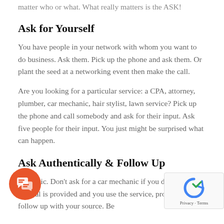matter who or what. What really matters is the ASK!
Ask for Yourself
You have people in your network with whom you want to do business. Ask them. Pick up the phone and ask them. Or plant the seed at a networking event then make the call.
Are you looking for a particular service: a CPA, attorney, plumber, car mechanic, hair stylist, lawn service? Pick up the phone and call somebody and ask for their input. Ask five people for their input. You just might be surprised what can happen.
Ask Authentically & Follow Up
authentic. Don't ask for a car mechanic if you do one. If a referral is provided and you use the service, provide some follow up with your source. Be